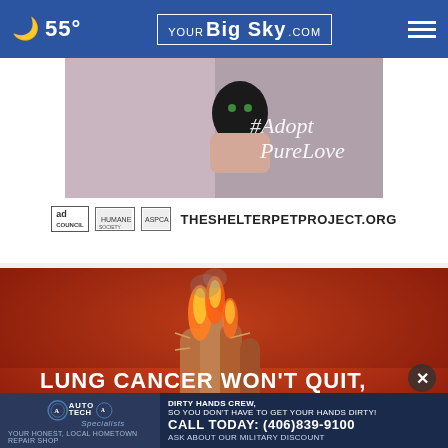55° YOUR Big Sky .COM
[Figure (photo): Advertisement for TheShelterPetProject.org showing a person holding a black cat with text '#AdoptPureLove' and logos for Ad Council and Humane Society]
THESHELTERPETPROJECT.ORG
[Figure (photo): Public health advertisement showing burning cactus plants on a red background with text 'LUNG CANCER WON'T QUIT, EVEN IF YOU DID.']
[Figure (photo): Auto Tech Specialists advertisement: 'DIRTY HANDS CREW, SO YOU DON'T HAVE TO GET YOUR HANDS DIRTY! CALL TODAY: (406)839-9100 ASK ABOUT OUR MILITARY DISCOUNT YOUR HONEST, LOCAL HOMETOWN REPAIR SHOP']